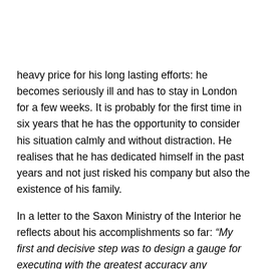heavy price for his long lasting efforts: he becomes seriously ill and has to stay in London for a few weeks. It is probably for the first time in six years that he has the opportunity to consider his situation calmly and without distraction. He realises that he has dedicated himself in the past years and not just risked his company but also the existence of his family.
In a letter to the Saxon Ministry of the Interior he reflects about his accomplishments so far: “My first and decisive step was to design a gauge for executing with the greatest accuracy any calculated ratio in the smallest of scales. This was followed by my work on the ratios of pinions and pieces as well as the respective machines, and I finally established the principles to be observed when building watches and designing escapements